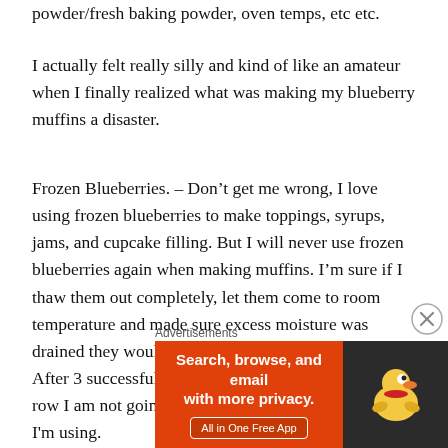powder/fresh baking powder, oven temps, etc etc.
I actually felt really silly and kind of like an amateur when I finally realized what was making my blueberry muffins a disaster.
Frozen Blueberries. – Don't get me wrong, I love using frozen blueberries to make toppings, syrups, jams, and cupcake filling. But I will never use frozen blueberries again when making muffins. I'm sure if I thaw them out completely, let them come to room temperature and made sure excess moisture was drained they would be fine. I don't want to risk it. After 3 successful batches of blueberry muffins in a row I am not going to change anything in the recipe I'm using.
Advertisements
[Figure (other): DuckDuckGo advertisement banner: orange left panel with text 'Search, browse, and email with more privacy. All in One Free App' and a dark right panel with DuckDuckGo duck logo]